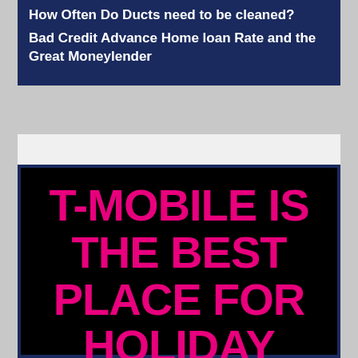How Often Do Ducts need to be cleaned?
Bad Credit Advance Home loan Rate and the Great Moneylender
[Figure (infographic): T-Mobile advertisement on black background with magenta text reading 'T-MOBILE IS THE BEST PLACE FOR HOLIDAY DEALS' followed by white text 'If you’re struggling to find the perfect gift for family and friends, relax. We’ve got you covered.']